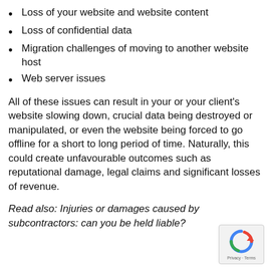Loss of your website and website content
Loss of confidential data
Migration challenges of moving to another website host
Web server issues
All of these issues can result in your or your client's website slowing down, crucial data being destroyed or manipulated, or even the website being forced to go offline for a short to long period of time. Naturally, this could create unfavourable outcomes such as reputational damage, legal claims and significant losses of revenue.
Read also: Injuries or damages caused by subcontractors: can you be held liable?